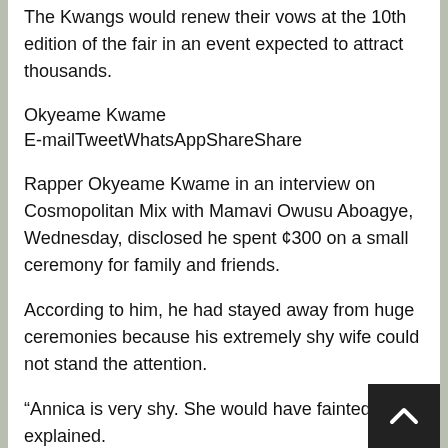The Kwangs would renew their vows at the 10th edition of the fair in an event expected to attract thousands.
Okyeame Kwame
E-mailTweetWhatsAppShareShare
Rapper Okyeame Kwame in an interview on Cosmopolitan Mix with Mamavi Owusu Aboagye, Wednesday, disclosed he spent ¢300 on a small ceremony for family and friends.
According to him, he had stayed away from huge ceremonies because his extremely shy wife could not stand the attention.
“Annica is very shy. She would have fainted,” he explained.
The ‘Bra’ hitmaker revealed he went to Kumasi Metropolitan Assembly (KMA) along with his bride, some family members and friends to sign for the marriage.